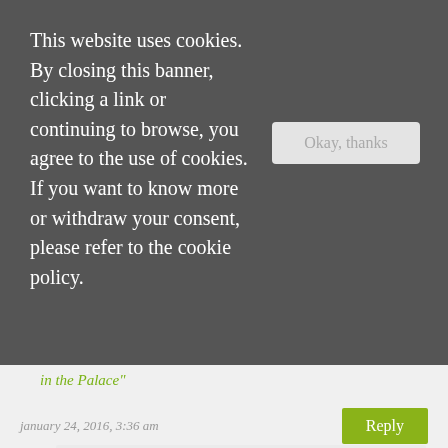This website uses cookies. By closing this banner, clicking a link or continuing to browse, you agree to the use of cookies. If you want to know more or withdraw your consent, please refer to the cookie policy.
in the Palace
january 24, 2016, 3:36 am
Reply
nicole @ feed your fiction addiction
Ha! Funny! I want to read your mystery, Jee Ann. 🙂
january 24, 2016, 8:36 pm
Reply